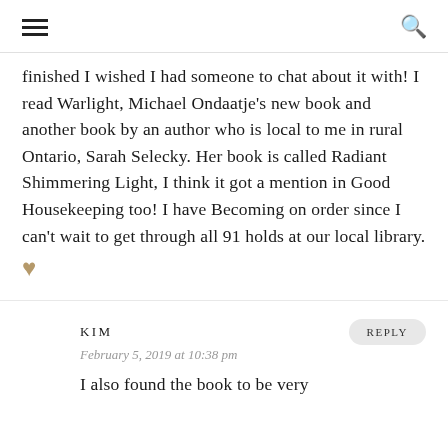≡  Q
finished I wished I had someone to chat about it with! I read Warlight, Michael Ondaatje's new book and another book by an author who is local to me in rural Ontario, Sarah Selecky. Her book is called Radiant Shimmering Light, I think it got a mention in Good Housekeeping too! I have Becoming on order since I can't wait to get through all 91 holds at our local library. ♥
KIM
February 5, 2019 at 10:38 pm
I also found the book to be very